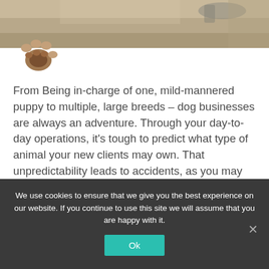[Figure (photo): Photograph of a dog on sandy ground, partially visible at the top of the page. Background is sandy/beige.]
[Figure (illustration): Paw print logo illustration in brown/tan colors, overlapping with the photo at the top left.]
From Being in-charge of one, mild-mannered puppy to multiple, large breeds – dog businesses are always an adventure. Through your day-to-day operations, it's tough to predict what type of animal your new clients may own. That unpredictability leads to accidents, as you may not be prepared for this new client. The result can range from minor bites to a fatal encounter! Be prepared with liability insurance coverage for your employees and your business.
We use cookies to ensure that we give you the best experience on our website. If you continue to use this site we will assume that you are happy with it.